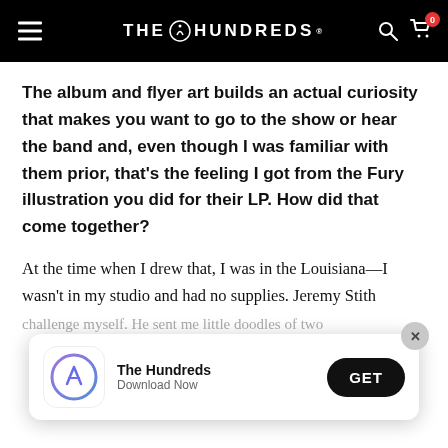THE HUNDREDS
The album and flyer art builds an actual curiosity that makes you want to go to the show or hear the band and, even though I was familiar with them prior, that's the feeling I got from the Fury illustration you did for their LP. How did that come together?
At the time when I drew that, I was in the Louisiana—I wasn't in my studio and had no supplies. Jeremy Stith challenge myself. He sent me little doodles of two
[Figure (screenshot): App download banner for The Hundreds with app store icon, app name, Download Now subtitle, and GET button. Close (X) button in top right corner.]